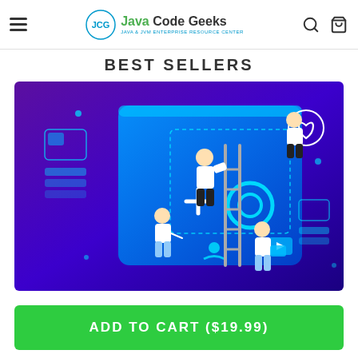Java Code Geeks
BEST SELLERS
[Figure (illustration): Isometric illustration showing people working on a large digital screen/app interface against a purple-to-blue gradient background. Three figures are arranging UI elements, climbing a ladder, and interacting with touchscreen elements. A heart icon circle is in the upper right. The screen shows UI components like a gear icon, plus button, user profile, and video play button.]
ADD TO CART ($19.99)